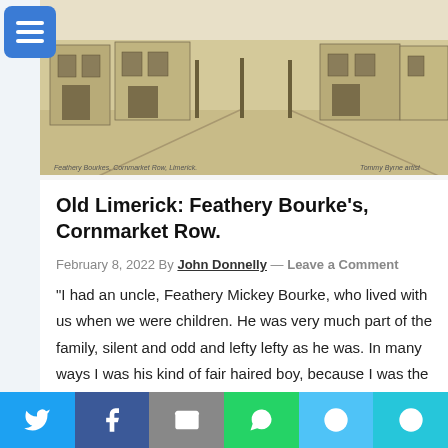[Figure (photo): A sketch/drawing of Feathery Bourke's, Cornmarket Row, Limerick. Sepia-toned illustration showing a street scene with buildings and storefronts. Caption text at bottom left reads 'Feathery Bourkes, Cornmarket Row, Limerick.' and artist signature at bottom right.]
Old Limerick: Feathery Bourke's, Cornmarket Row.
February 8, 2022 By John Donnelly — Leave a Comment
“I had an uncle, Feathery Mickey Bourke, who lived with us when we were children. He was very much part of the family, silent and odd and lefty lefty as he was. In many ways I was his kind of fair haired boy, because I was the eldest and he had a shine to me even in later years when he wouldn’t talk … [Read More...]